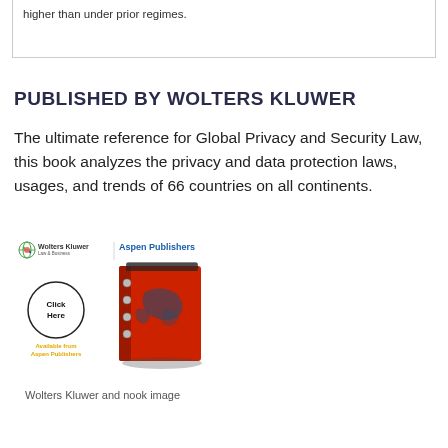higher than under prior regimes.
PUBLISHED BY WOLTERS KLUWER
The ultimate reference for Global Privacy and Security Law, this book analyzes the privacy and data protection laws, usages, and trends of 66 countries on all continents.
[Figure (illustration): Wolters Kluwer Law & Business logo with Aspen Publishers logo and a red binder/book image, with a 'Click Here' button and 'Available from Aspen Publishers' text]
Wolters Kluwer and nook image